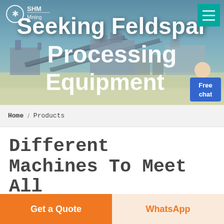[Figure (photo): Hero banner showing an industrial mining processing plant with conveyors and equipment under a desert sky. Text overlay reads 'Seeking Feldspar Processing Equipment'. A logo with snowflake icon and 'Mining' text is top-left. A teal hamburger menu icon is top-right. A blue 'Free chat' button with a customer service agent is bottom-right.]
Home / Products
Different Machines To Meet All Need
Get a Quote
WhatsApp